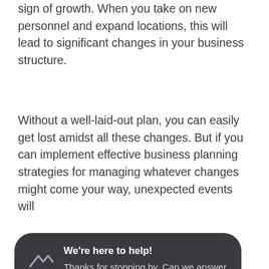sign of growth. When you take on new personnel and expand locations, this will lead to significant changes in your business structure.
Without a well-laid-out plan, you can easily get lost amidst all these changes. But if you can implement effective business planning strategies for managing whatever changes might come your way, unexpected events will
[Figure (screenshot): Dark rounded chat popup widget with a logo icon on the left, bold white text 'We're here to help!' and grey body text 'Thanks for stopping by. Can we answer any questions for you?']
Infrastructure Planning Keeps Your Business Updated